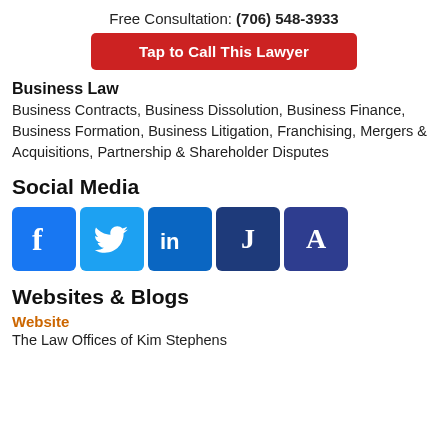Free Consultation: (706) 548-3933
Tap to Call This Lawyer
Business Law
Business Contracts, Business Dissolution, Business Finance, Business Formation, Business Litigation, Franchising, Mergers & Acquisitions, Partnership & Shareholder Disputes
Social Media
[Figure (illustration): Social media icons: Facebook (blue f), Twitter (light blue bird), LinkedIn (blue 'in'), Justia (dark blue J), Avvo (dark blue A)]
Websites & Blogs
Website
The Law Offices of Kim Stephens